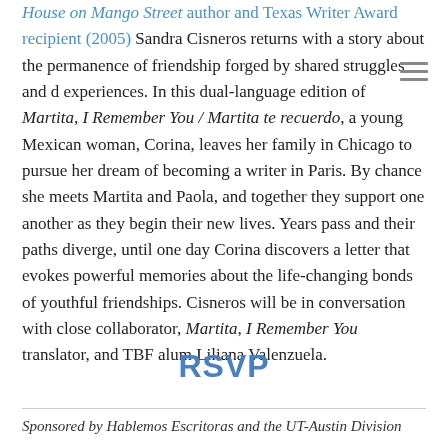House on Mango Street author and Texas Writer Award recipient (2005) Sandra Cisneros returns with a story about the permanence of friendship forged by shared struggles and experiences. In this dual-language edition of Martita, I Remember You / Martita te recuerdo, a young Mexican woman, Corina, leaves her family in Chicago to pursue her dream of becoming a writer in Paris. By chance she meets Martita and Paola, and together they support one another as they begin their new lives. Years pass and their paths diverge, until one day Corina discovers a letter that evokes powerful memories about the life-changing bonds of youthful friendships. Cisneros will be in conversation with close collaborator, Martita, I Remember You translator, and TBF alum Liliana Valenzuela.
RSVP
Sponsored by Hablemos Escritoras and the UT-Austin Division